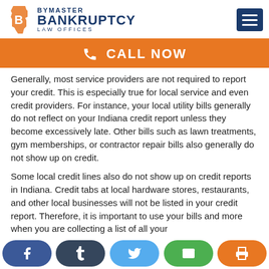Bymaster Bankruptcy Law Offices
CALL NOW
Generally, most service providers are not required to report your credit. This is especially true for local service and even credit providers. For instance, your local utility bills generally do not reflect on your Indiana credit report unless they become excessively late. Other bills such as lawn treatments, gym memberships, or contractor repair bills also generally do not show up on credit.
Some local credit lines also do not show up on credit reports in Indiana. Credit tabs at local hardware stores, restaurants, and other local businesses will not be listed in your credit report. Therefore, it is important to use your bills and more when you are collecting a list of all your...